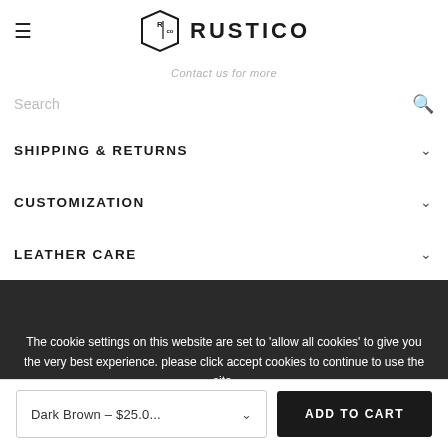RUSTICO
Contact us for more
Search
SHIPPING & RETURNS
CUSTOMIZATION
LEATHER CARE
The cookie settings on this website are set to 'allow all cookies' to give you the very best experience. please click accept cookies to continue to use the site.
PRIVACY POLICY    ACCEPT ✓
RELATED PRODUCTS
Dark Brown – $25.0...    ADD TO CART